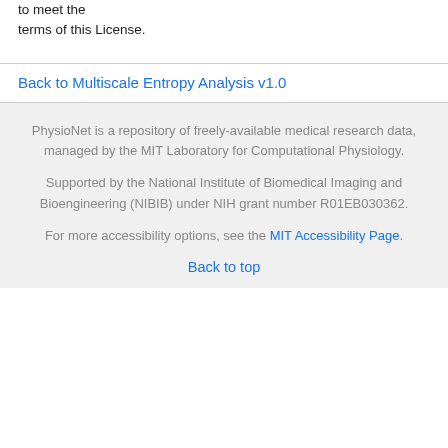to meet the terms of this License.
Back to Multiscale Entropy Analysis v1.0
PhysioNet is a repository of freely-available medical research data, managed by the MIT Laboratory for Computational Physiology.
Supported by the National Institute of Biomedical Imaging and Bioengineering (NIBIB) under NIH grant number R01EB030362.
For more accessibility options, see the MIT Accessibility Page.
Back to top